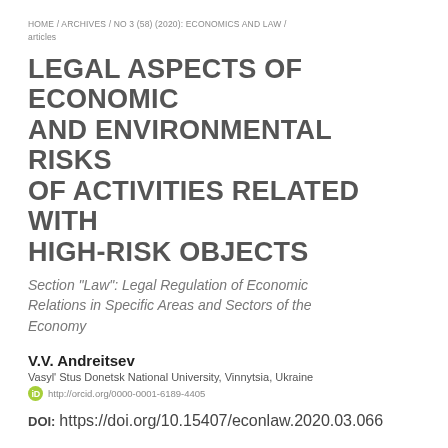HOME / ARCHIVES / NO 3 (58) (2020): ECONOMICS AND LAW / articles
LEGAL ASPECTS OF ECONOMIC AND ENVIRONMENTAL RISKS OF ACTIVITIES RELATED WITH HIGH-RISK OBJECTS
Section "Law": Legal Regulation of Economic Relations in Specific Areas and Sectors of the Economy
V.V. Andreitsev
Vasyl' Stus Donetsk National University, Vinnytsia, Ukraine
http://orcid.org/0000-0001-6189-4405
DOI: https://doi.org/10.15407/econlaw.2020.03.066